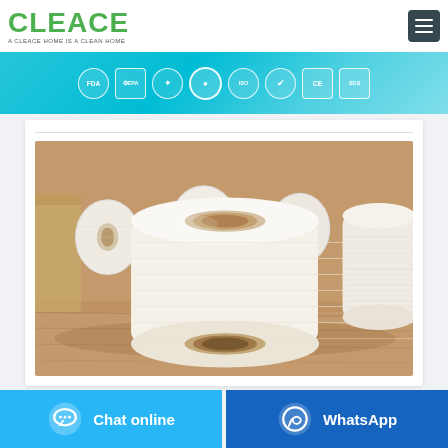[Figure (logo): CLEACE logo in green with tagline 'A CLEACE HOME IS A CLEAN HOME']
[Figure (infographic): Certification badges banner: FDA, EPA, and other quality certifications on teal background]
[Figure (photo): Multiple rolls of toilet paper arranged on a wooden surface]
Chat online
WhatsApp